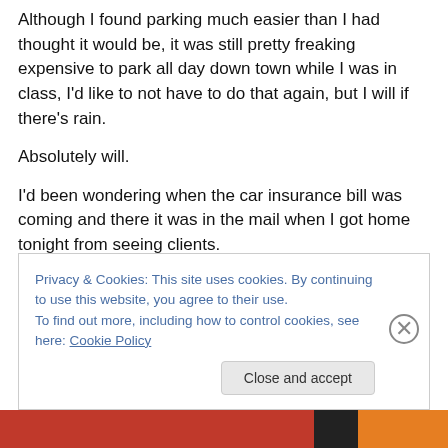Although I found parking much easier than I had thought it would be, it was still pretty freaking expensive to park all day down town while I was in class, I’d like to not have to do that again, but I will if there’s rain.
Absolutely will.
I’d been wondering when the car insurance bill was coming and there it was in the mail when I got home tonight from seeing clients.
When I first opened it I was shocked, but then I realized
Privacy & Cookies: This site uses cookies. By continuing to use this website, you agree to their use.
To find out more, including how to control cookies, see here: Cookie Policy
Close and accept